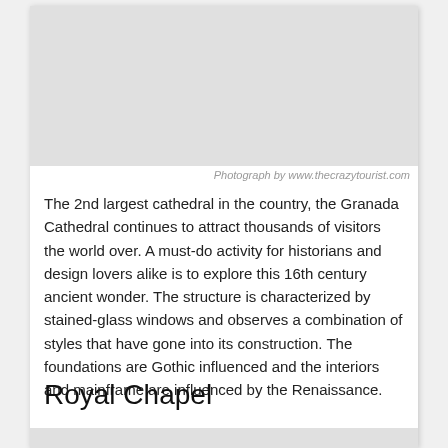[Figure (photo): Photograph of Granada Cathedral, top portion of page]
Photograph by www.thecrazytourist.com
The 2nd largest cathedral in the country, the Granada Cathedral continues to attract thousands of visitors the world over. A must-do activity for historians and design lovers alike is to explore this 16th century ancient wonder. The structure is characterized by stained-glass windows and observes a combination of styles that have gone into its construction. The foundations are Gothic influenced and the interiors and mainframe are influenced by the Renaissance.
Royal Chapel
[Figure (photo): Photograph of Royal Chapel, bottom portion of page]